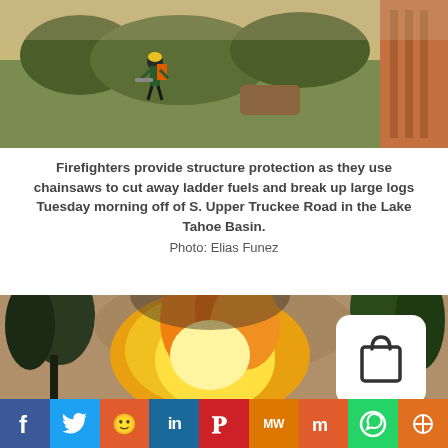[Figure (photo): Firefighter with chainsaw on hillside with trees and shrubs, log cabin visible on right]
Firefighters provide structure protection as they use chainsaws to cut away ladder fuels and break up large logs Tuesday morning off of S. Upper Truckee Road in the Lake Tahoe Basin.
Photo: Elias Funez
[Figure (photo): Large wildfire flames and smoke with trees visible, shopping bag icon overlay in lower right]
f  Twitter  Reddit  in  Pinterest  MW  Mix  WhatsApp  Share